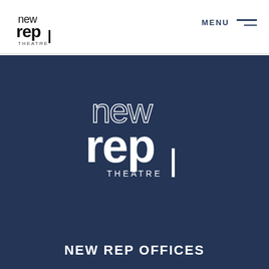[Figure (logo): New Rep Theatre logo (small black version) in the top-left header area]
MENU
[Figure (logo): New Rep Theatre large white logo centered on dark navy background]
NEW REP OFFICES